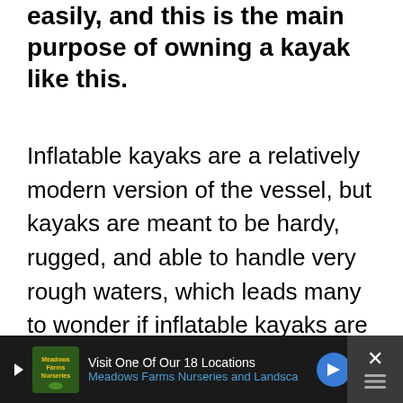easily, and this is the main purpose of owning a kayak like this.
Inflatable kayaks are a relatively modern version of the vessel, but kayaks are meant to be hardy, rugged, and able to handle very rough waters, which leads many to wonder if inflatable kayaks are worthwhile. What are the pros and cons of using inflatable kayaks? Are these vessels safe? How well do they function? Let's find out!
[Figure (other): Advertisement banner at bottom of page for Meadows Farms Nurseries and Landscape. Dark background with logo, text 'Visit One Of Our 18 Locations' and 'Meadows Farms Nurseries and Landsca...' with a blue navigation arrow icon. A close/X button is visible on the right side.]